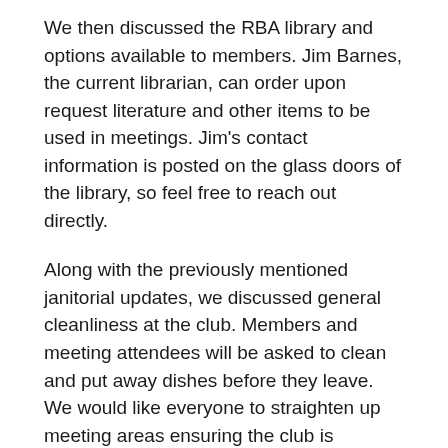We then discussed the RBA library and options available to members. Jim Barnes, the current librarian, can order upon request literature and other items to be used in meetings. Jim's contact information is posted on the glass doors of the library, so feel free to reach out directly.
Along with the previously mentioned janitorial updates, we discussed general cleanliness at the club. Members and meeting attendees will be asked to clean and put away dishes before they leave. We would like everyone to straighten up meeting areas ensuring the club is presentable for the next groups planning to use these spaces. Further more we do to mention the